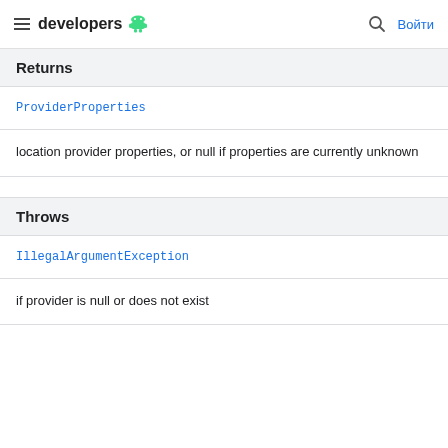developers  Войти
Returns
ProviderProperties
location provider properties, or null if properties are currently unknown
Throws
IllegalArgumentException
if provider is null or does not exist